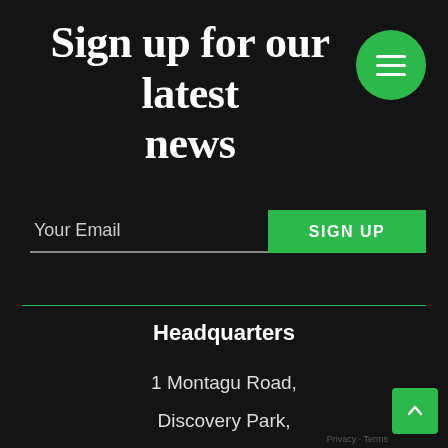Sign up for our latest news
[Figure (other): Green circular hamburger menu button with three white horizontal lines]
Your Email
SIGN UP
Headquarters
1 Montagu Road,
Discovery Park,
Sandwich, Kent,
CT13 9FA